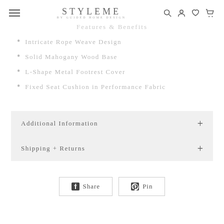STYLEME BY GUIDED HOME DESIGN
Features & Benefits
Intricate Rope Weave Design
Solid Mahogany Wood Base
L-Shape Metal Footrest Cover
Fixed Seat Cushion in Performance Fabric
Additional Information +
Shipping + Returns +
Share
Pin